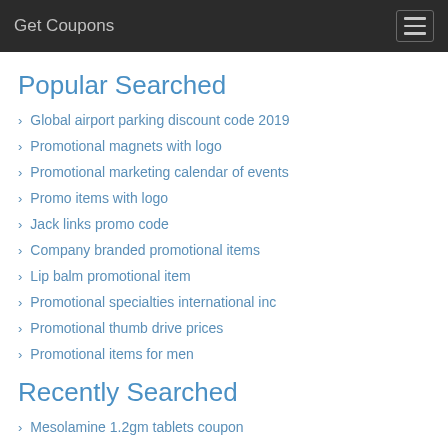Get Coupons
Popular Searched
Global airport parking discount code 2019
Promotional magnets with logo
Promotional marketing calendar of events
Promo items with logo
Jack links promo code
Company branded promotional items
Lip balm promotional item
Promotional specialties international inc
Promotional thumb drive prices
Promotional items for men
Recently Searched
Mesolamine 1.2gm tablets coupon